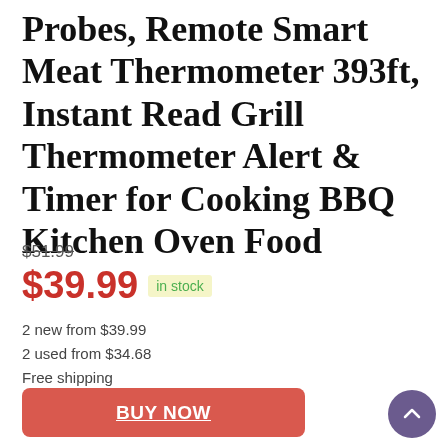Probes, Remote Smart Meat Thermometer 393ft, Instant Read Grill Thermometer Alert & Timer for Cooking BBQ Kitchen Oven Food
$51.99 (strikethrough original price)
$39.99 in stock
2 new from $39.99
2 used from $34.68
Free shipping
BUY NOW
Amazon.com